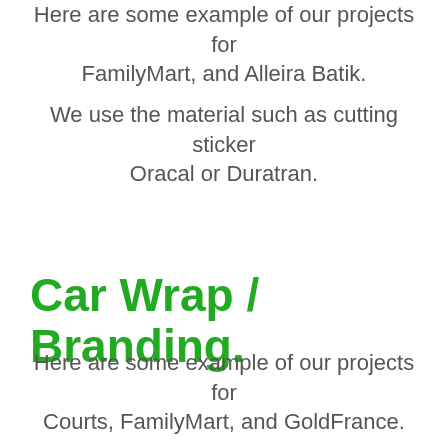Here are some example of our projects for FamilyMart, and Alleira Batik.
We use the material such as cutting sticker Oracal or Duratran.
Car Wrap / Branding.
Here are some example of our projects for Courts, FamilyMart, and GoldFrance.